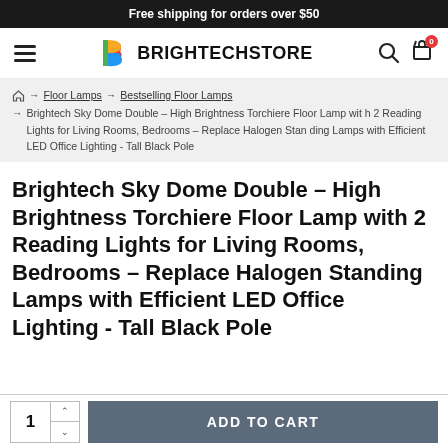Free shipping for orders over $50
[Figure (logo): BRIGHTECHSTORE logo with colorful B icon]
Floor Lamps → Bestselling Floor Lamps → Brightech Sky Dome Double – High Brightness Torchiere Floor Lamp with 2 Reading Lights for Living Rooms, Bedrooms – Replace Halogen Standing Lamps with Efficient LED Office Lighting - Tall Black Pole
Brightech Sky Dome Double – High Brightness Torchiere Floor Lamp with 2 Reading Lights for Living Rooms, Bedrooms – Replace Halogen Standing Lamps with Efficient LED Office Lighting - Tall Black Pole
1  ADD TO CART